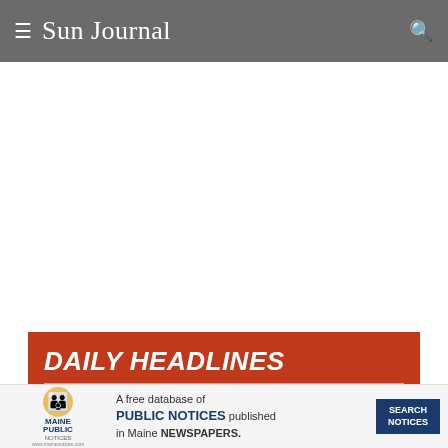≡ Sun Journal
DAILY HEADLINES
Sign up and we'll deliver the top stories to begin the day to your inbox at 6 a.m.
[Figure (other): Email input field with placeholder text 'Enter your email']
[Figure (other): Submit button with text 'SUBMIT']
[Figure (infographic): Maine Public Notices advertisement banner: 'A free database of PUBLIC NOTICES published in Maine NEWSPAPERS.' with SEARCH NOTICES button]